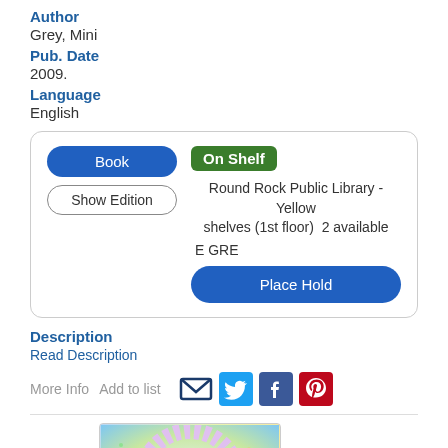Author
Grey, Mini
Pub. Date
2009.
Language
English
| Book | On Shelf |
| Show Edition | Round Rock Public Library - Yellow shelves (1st floor)  2 available
E GRE
Place Hold |
Description
Read Description
More Info   Add to list
[Figure (screenshot): Book cover for Clorinda Takes Flight]
[Figure (illustration): Orange scroll-to-top button with upward arrow]